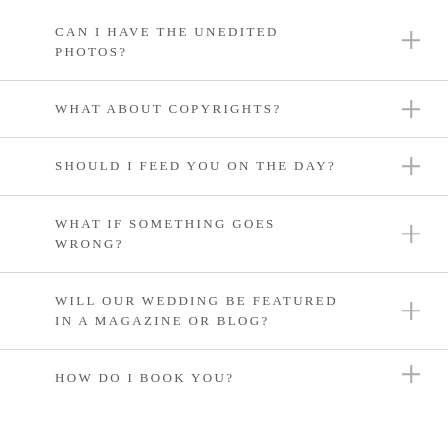CAN I HAVE THE UNEDITED PHOTOS?
WHAT ABOUT COPYRIGHTS?
SHOULD I FEED YOU ON THE DAY?
WHAT IF SOMETHING GOES WRONG?
WILL OUR WEDDING BE FEATURED IN A MAGAZINE OR BLOG?
HOW DO I BOOK YOU?